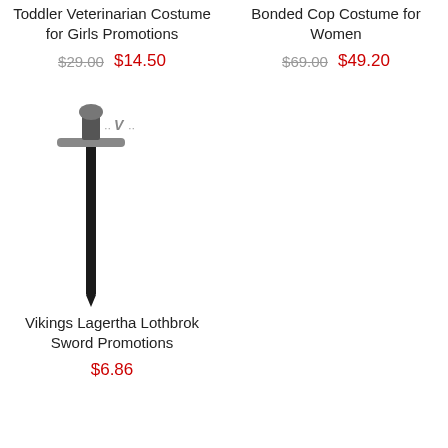Toddler Veterinarian Costume for Girls Promotions
$29.00  $14.50
Bonded Cop Costume for Women
$69.00  $49.20
[Figure (illustration): Viking sword (Lagertha Lothbrok) with dark blade and cross-guard, angled diagonally, with a small logo/icon beside the hilt]
Vikings Lagertha Lothbrok Sword Promotions
$6.86